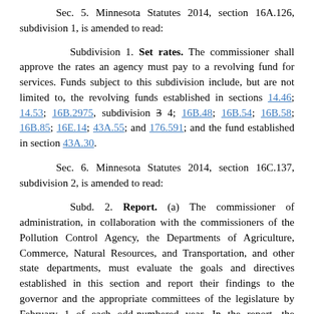Sec. 5. Minnesota Statutes 2014, section 16A.126, subdivision 1, is amended to read:
Subdivision 1. Set rates. The commissioner shall approve the rates an agency must pay to a revolving fund for services. Funds subject to this subdivision include, but are not limited to, the revolving funds established in sections 14.46; 14.53; 16B.2975, subdivision 3 4; 16B.48; 16B.54; 16B.58; 16B.85; 16E.14; 43A.55; and 176.591; and the fund established in section 43A.30.
Sec. 6. Minnesota Statutes 2014, section 16C.137, subdivision 2, is amended to read:
Subd. 2. Report. (a) The commissioner of administration, in collaboration with the commissioners of the Pollution Control Agency, the Departments of Agriculture, Commerce, Natural Resources, and Transportation, and other state departments, must evaluate the goals and directives established in this section and report their findings to the governor and the appropriate committees of the legislature by February 1 of each odd-numbered year. In the report, the committee commissioner must make recommendations for